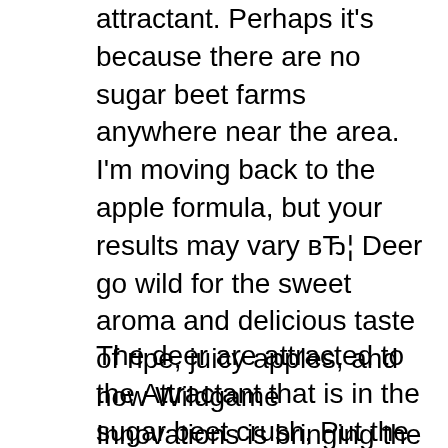attractant. Perhaps it's because there are no sugar beet farms anywhere near the area. I'm moving back to the apple formula, but your results may vary в„¦ Deer go wild for the sweet aroma and delicious taste of ripe, juicy apples, and now Wildgame Innovations is bringing the orchard to you with Apple CRUSHB®. Pour Apple CRUSH over logs, stumps or directly on the ground to create a powerful mineral site that will keep deer coming back for weeks. Unleash a whole bushel of attractant power with
The deer are attracted to the Attractant that is in the sugar beet crush, Put the stuff out with no other minerals or deer